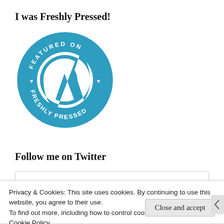I was Freshly Pressed!
[Figure (logo): WordPress 'Featured on Freshly Pressed' circular badge in blue with white text and WordPress W logo in the center]
Follow me on Twitter
Privacy & Cookies: This site uses cookies. By continuing to use this website, you agree to their use.
To find out more, including how to control cookies, see here: Cookie Policy
Close and accept